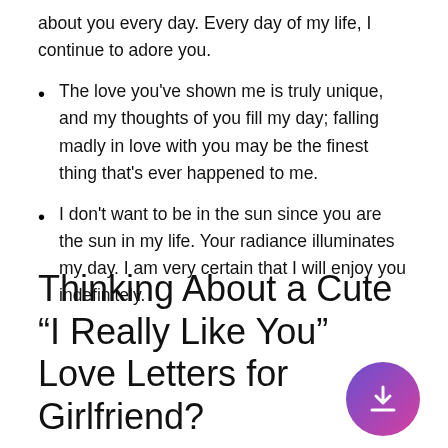about you every day. Every day of my life, I continue to adore you.
The love you've shown me is truly unique, and my thoughts of you fill my day; falling madly in love with you may be the finest thing that's ever happened to me.
I don't want to be in the sun since you are the sun in my life. Your radiance illuminates my day. I am very certain that I will enjoy you indefinitely.
Thinking About a Cute “I Really Like You” Love Letters for Girlfriend?